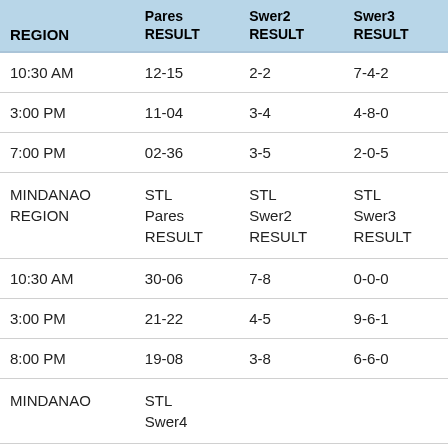| REGION | Pares RESULT | Swer2 RESULT | Swer3 RESULT |
| --- | --- | --- | --- |
| 10:30 AM | 12-15 | 2-2 | 7-4-2 |
| 3:00 PM | 11-04 | 3-4 | 4-8-0 |
| 7:00 PM | 02-36 | 3-5 | 2-0-5 |
| MINDANAO REGION | STL Pares RESULT | STL Swer2 RESULT | STL Swer3 RESULT |
| 10:30 AM | 30-06 | 7-8 | 0-0-0 |
| 3:00 PM | 21-22 | 4-5 | 9-6-1 |
| 8:00 PM | 19-08 | 3-8 | 6-6-0 |
| MINDANAO | STL Swer4 |  |  |